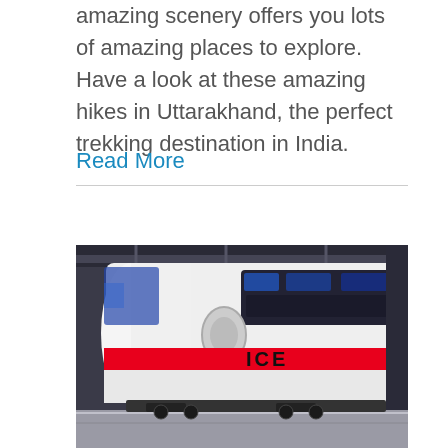amazing scenery offers you lots of amazing places to explore. Have a look at these amazing hikes in Uttarakhand, the perfect trekking destination in India.
Read More
[Figure (photo): An ICE high-speed train (white with red horizontal stripe, 'ICE' lettering) at a station platform, photographed in a dark station with overhead structure visible.]